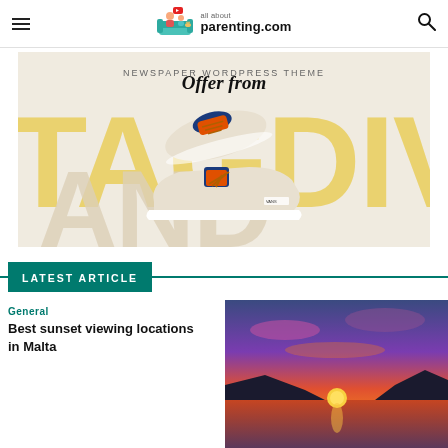all about parenting.com
[Figure (photo): Advertisement banner: NEWSPAPER WordPress Theme - Offer from TAGDIV, showing a pair of beige/cream Vans sneakers with orange laces on a light background with gold large text TAGDIV]
LATEST ARTICLE
General
Best sunset viewing locations in Malta
[Figure (photo): Sunset photo over water with vivid orange, pink, and purple sky with mountains silhouetted in background]